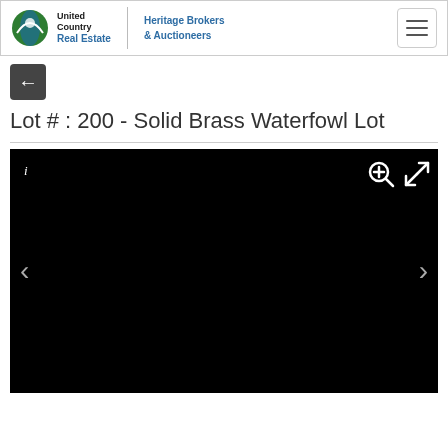United Country Real Estate | Heritage Brokers & Auctioneers
Lot # : 200 - Solid Brass Waterfowl Lot
[Figure (photo): Black image viewer panel with navigation arrows, zoom and expand icons, and an info icon. The main image area is entirely black.]